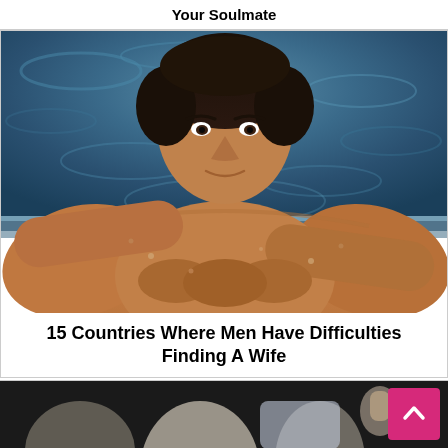Your Soulmate
[Figure (photo): Athletic shirtless man leaning on pool edge, water in background]
15 Countries Where Men Have Difficulties Finding A Wife
[Figure (photo): Partial view of person at bottom of page with scroll-to-top button]